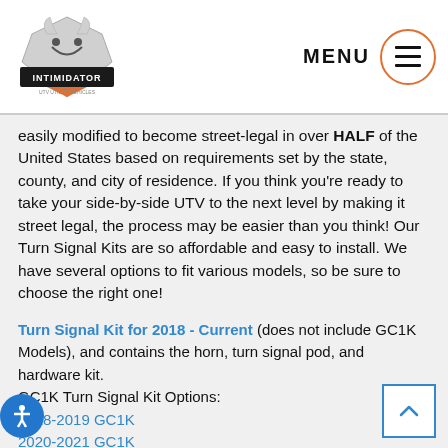Intimidator UTV logo and MENU navigation
easily modified to become street-legal in over HALF of the United States based on requirements set by the state, county, and city of residence. If you think you're ready to take your side-by-side UTV to the next level by making it street legal, the process may be easier than you think! Our Turn Signal Kits are so affordable and easy to install. We have several options to fit various models, so be sure to choose the right one!
Turn Signal Kit for 2018 - Current (does not include GC1K Models), and contains the horn, turn signal pod, and hardware kit. GC1K Turn Signal Kit Options: 2018-2019 GC1K 2020-2021 GC1K